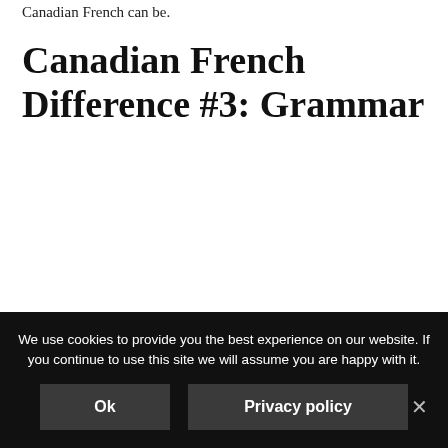Canadian French can be.
Canadian French Difference #3: Grammar
We use cookies to provide you the best experience on our website. If you continue to use this site we will assume you are happy with it.
Ok
Privacy policy